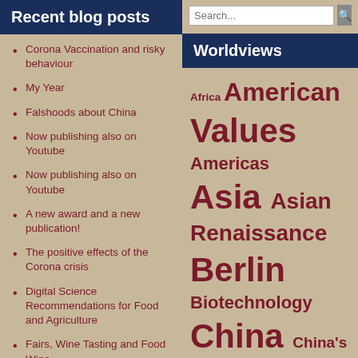Recent blog posts
Corona Vaccination and risky behaviour
My Year
Falshoods about China
Now publishing also on Youtube
Now publishing also on Youtube
A new award and a new publication!
The positive effects of the Corona crisis
Digital Science Recommendations for Food and Agriculture
Fairs, Wine Tasting and Food Wine
Worldviews
Africa American Values Americas Asia Asian Renaissance Berlin Biotechnology China China's rise ClimateChange Corporate Culture COVID-19 Deutschland Developing This